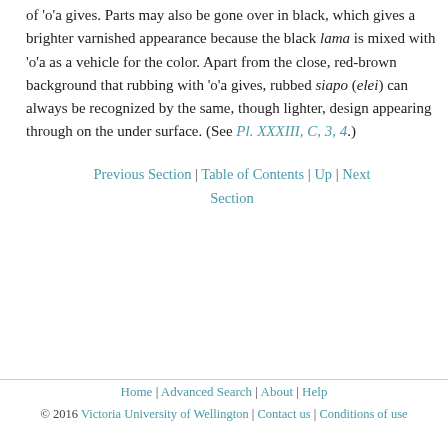of 'o'a gives. Parts may also be gone over in black, which gives a brighter varnished appearance because the black lama is mixed with 'o'a as a vehicle for the color. Apart from the close, red-brown background that rubbing with 'o'a gives, rubbed siapo (elei) can always be recognized by the same, though lighter, design appearing through on the under surface. (See Pl. XXXIII, C, 3, 4.)
Previous Section | Table of Contents | Up | Next Section
Home | Advanced Search | About | Help © 2016 Victoria University of Wellington | Contact us | Conditions of use